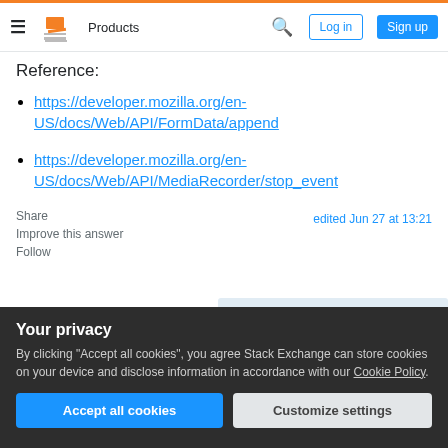Products  Log in  Sign up
Reference:
https://developer.mozilla.org/en-US/docs/Web/API/FormData/append
https://developer.mozilla.org/en-US/docs/Web/API/MediaRecorder/stop_event
Share   edited Jun 27 at 13:21
Improve this answer
Follow
answered Jun 24 at 3:39
Your privacy
By clicking "Accept all cookies", you agree Stack Exchange can store cookies on your device and disclose information in accordance with our Cookie Policy.
Accept all cookies   Customize settings
You can find more information on how to write good answers in the help center. — Community Bot Jun 25 at